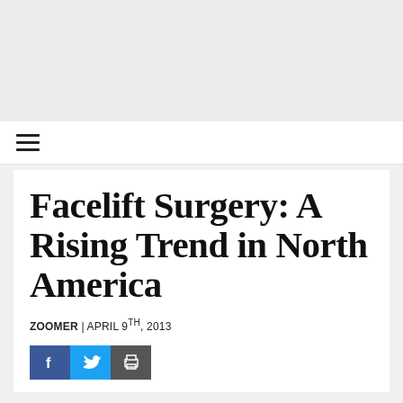[Figure (other): Top banner gray background area (advertisement/header placeholder)]
≡ (hamburger menu navigation bar)
Facelift Surgery: A Rising Trend in North America
ZOOMER | APRIL 9TH, 2013
[Figure (other): Social media sharing buttons: Facebook (blue), Twitter (light blue), Print (dark gray)]